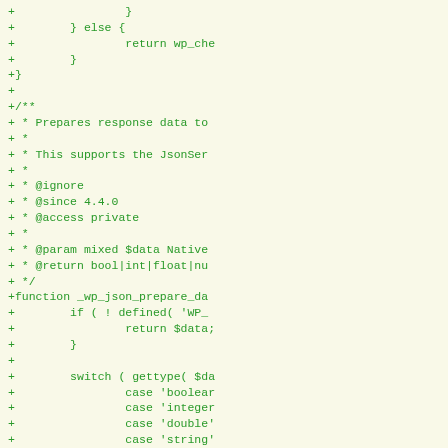[Figure (screenshot): A code diff fragment showing PHP code additions in green monospace font on a light yellow background. Lines begin with '+' prefix indicating added lines. The code shows the end of a function with an else block, followed by a JSDoc comment block for a function named _wp_json_prepare_data, and the beginning of that function with an if statement and switch statement.]